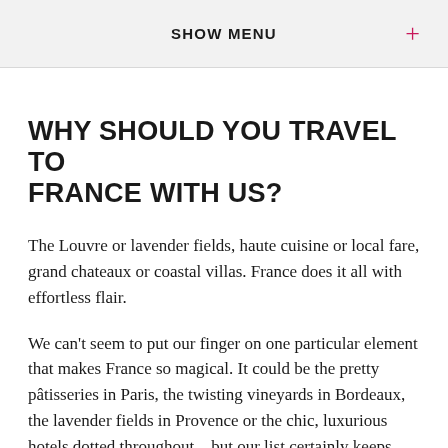SHOW MENU
WHY SHOULD YOU TRAVEL TO FRANCE WITH US?
The Louvre or lavender fields, haute cuisine or local fare, grand chateaux or coastal villas. France does it all with effortless flair.
We can't seem to put our finger on one particular element that makes France so magical. It could be the pretty pâtisseries in Paris, the twisting vineyards in Bordeaux, the lavender fields in Provence or the chic, luxurious hotels dotted throughout – but our list certainly keeps growing. The romance capital of the world and a firm-family favourite destination; we'll show you a side of France